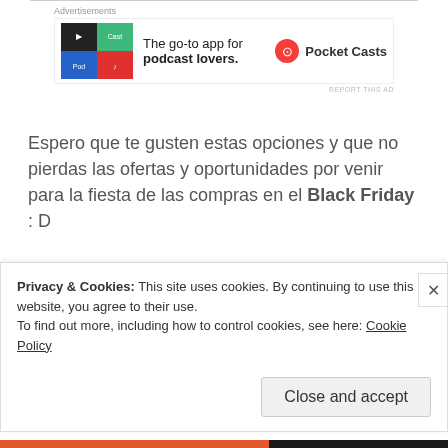[Figure (other): Advertisement banner for Pocket Casts app — colorful grid logo, text 'The go-to app for podcast lovers.' and Pocket Casts logo]
Espero que te gusten estas opciones y que no pierdas las ofertas y oportunidades por venir para la fiesta de las compras en el Black Friday : D
Sponsored Content
[Figure (illustration): Thumbnail image of a globe on blue background for sponsored content article]
Almost Nobody Has Passed This Championship Quiz
Privacy & Cookies: This site uses cookies. By continuing to use this website, you agree to their use.
To find out more, including how to control cookies, see here: Cookie Policy